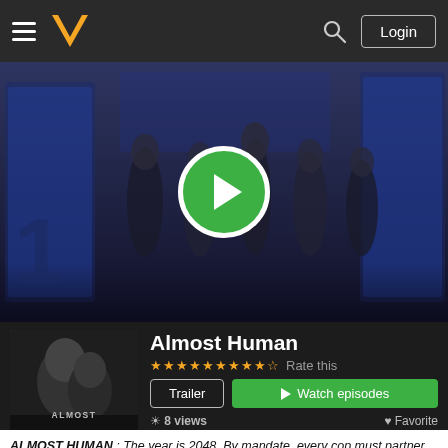Navigation bar with hamburger menu, logo, search icon, Login button
[Figure (screenshot): Hero banner showing cast of Almost Human TV show, group of people in a corridor with blue digital displays, with a large green play button overlay in the center]
[Figure (photo): Almost Human TV show poster - black and white image of two faces close together, with ALMOST HUMAN text at bottom]
Almost Human
★★★★★★★★★☆ Rate this
Trailer  ▶ Watch episodes
👁 8 views   ♥ Favorite
ALMOST HUMAN : The year is 2048. By mandate, every cop must partner with a robot. Detective John Kennex returns to work after waking up from a 17-month coma. As he adjusts to working with his new partner, Dorian, a discontinued android with unexpected emotional responses, John also must